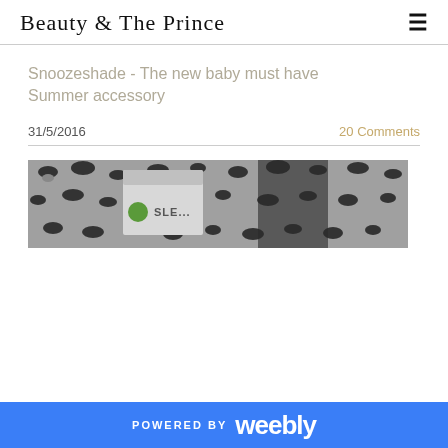Beauty & The Prince
Snoozeshade -  The new baby must have Summer accessory
31/5/2016    20 Comments
[Figure (photo): Close-up photo of a Snoozeshade product against a grey leopard-print fabric background, with a white product label visible showing partial text 'SLE...']
POWERED BY weebly